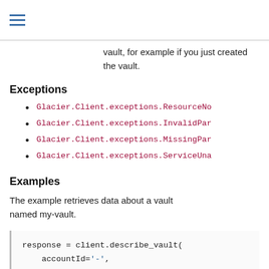vault, for example if you just created the vault.
Exceptions
Glacier.Client.exceptions.ResourceNo
Glacier.Client.exceptions.InvalidPar
Glacier.Client.exceptions.MissingPar
Glacier.Client.exceptions.ServiceUna
Examples
The example retrieves data about a vault named my-vault.
response = client.describe_vault(
    accountId='-',
    vaultName='my-vault',
)